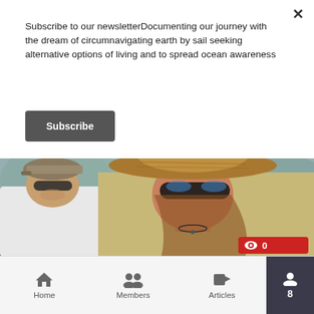Subscribe to our newsletterDocumenting our journey with the dream of circumnavigating earth by sail seeking alternative options of living and to spread ocean awareness
Subscribe
[Figure (photo): Two people outdoors in sunny weather. On the left, a man wearing a cap and sunglasses in a white t-shirt. On the right, a woman wearing a wide-brimmed straw hat and sunglasses, smiling. A view with green trees and colorful buildings in the background. A red view counter badge showing an eye icon and '0' appears in the bottom right.]
Home Members Articles 8